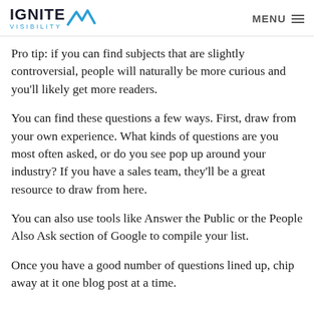IGNITE VISIBILITY | MENU
Pro tip: if you can find subjects that are slightly controversial, people will naturally be more curious and you'll likely get more readers.
You can find these questions a few ways. First, draw from your own experience. What kinds of questions are you most often asked, or do you see pop up around your industry? If you have a sales team, they'll be a great resource to draw from here.
You can also use tools like Answer the Public or the People Also Ask section of Google to compile your list.
Once you have a good number of questions lined up, chip away at it one blog post at a time.